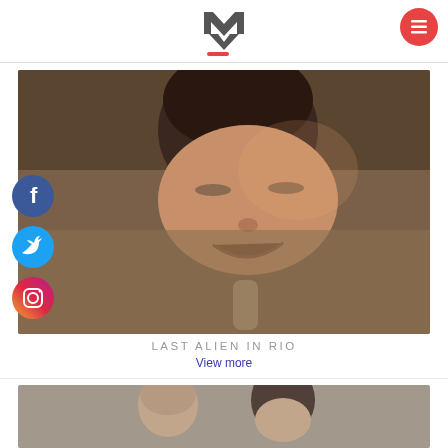[Figure (logo): Stylized M logo with chevron/arrow design and red underline accent]
[Figure (illustration): Red circular hamburger menu button (three white lines)]
[Figure (photo): Close-up photo of a man singing with eyes closed, warm brown tones]
[Figure (illustration): Facebook social media icon - blue circle with white F]
[Figure (illustration): Twitter social media icon - blue circle with white bird]
[Figure (illustration): Instagram social media icon - gradient circle with camera outline]
LAST ALIEN IN RIO
View more
[Figure (photo): Photo of two people from shoulders up, gray background, partially visible at bottom of page]